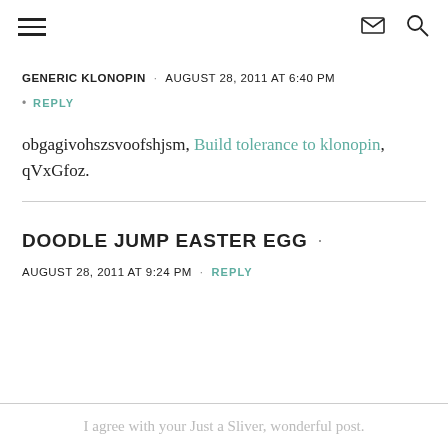Navigation header with hamburger menu, mail icon, and search icon
GENERIC KLONOPIN · AUGUST 28, 2011 AT 6:40 PM
• REPLY
obgagivohszsvoofshjsm, Build tolerance to klonopin, qVxGfoz.
DOODLE JUMP EASTER EGG · AUGUST 28, 2011 AT 9:24 PM · REPLY
I agree with your Just a Sliver, wonderful post.